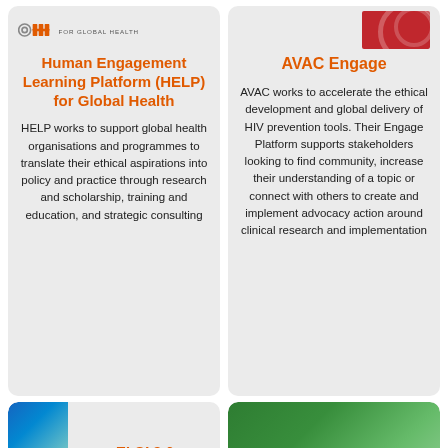[Figure (logo): HELP for Global Health logo with icon and text FOR GLOBAL HEALTH]
Human Engagement Learning Platform (HELP) for Global Health
HELP works to support global health organisations and programmes to translate their ethical aspirations into policy and practice through research and scholarship, training and education, and strategic consulting
[Figure (logo): AVAC logo: red rectangle with circular overlapping design]
AVAC Engage
AVAC works to accelerate the ethical development and global delivery of HIV prevention tools. Their Engage Platform supports stakeholders looking to find community, increase their understanding of a topic or connect with others to create and implement advocacy action around clinical research and implementation
[Figure (photo): Partial bottom-left card showing a blue globe/earth image]
ELSI 2.0
[Figure (photo): Partial bottom-right card showing a green textured background image]